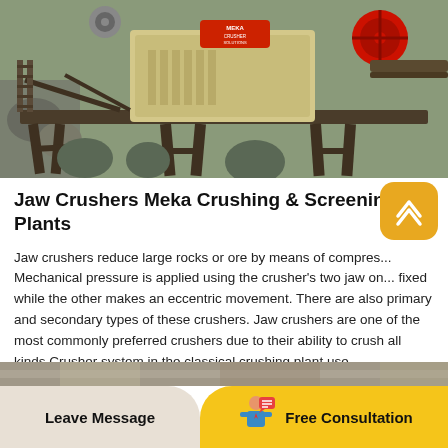[Figure (photo): Industrial jaw crusher machine on a metal frame/platform, photographed outdoors. The crusher is yellow/beige colored with a red flywheel visible at top right. Heavy steel support structure underneath.]
Jaw Crushers Meka Crushing & Screening Plants
Jaw crushers reduce large rocks or ore by means of compres... Mechanical pressure is applied using the crusher's two jaw on... fixed while the other makes an eccentric movement. There are also primary and secondary types of these crushers. Jaw crushers are one of the most commonly preferred crushers due to their ability to crush all kinds.Crusher system in the classical crushing plant use...
[Figure (screenshot): Partially visible image strip at bottom of page, appears to be another crusher or equipment photo.]